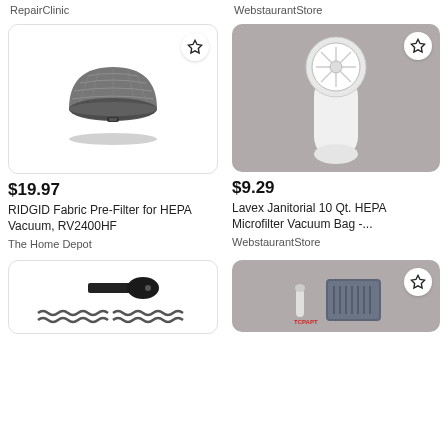RepairClinic
WebstaurantStore
[Figure (photo): RIDGID fabric pre-filter, round gray mesh dome shape]
[Figure (photo): Lavex Janitorial HEPA microfilter vacuum bag, white bag with circular filter top, on gray background]
$19.97
RIDGID Fabric Pre-Filter for HEPA Vacuum, RV2400HF
The Home Depot
$9.29
Lavex Janitorial 10 Qt. HEPA Microfilter Vacuum Bag -...
WebstaurantStore
[Figure (photo): Black scraper tool with wavy rubber strips on white background]
[Figure (photo): CPAP parts and gray device on gray background, star/favorite button visible]